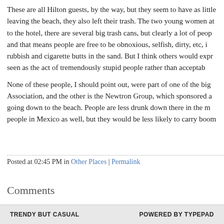These are all Hilton guests, by the way, but they seem to have as little leaving the beach, they also left their trash. The two young women at to the hotel, there are several big trash cans, but clearly a lot of peop and that means people are free to be obnoxious, selfish, dirty, etc, i rubbish and cigarette butts in the sand. But I think others would expr seen as the act of tremendously stupid people rather than acceptab
None of these people, I should point out, were part of one of the big Association, and the other is the Newtron Group, which sponsored a going down to the beach. People are less drunk down there in the m people in Mexico as well, but they would be less likely to carry boom
Posted at 02:45 PM in Other Places | Permalink
Comments
The comments to this entry are closed.
TRENDY BUT CASUAL   POWERED BY TYPEPAD